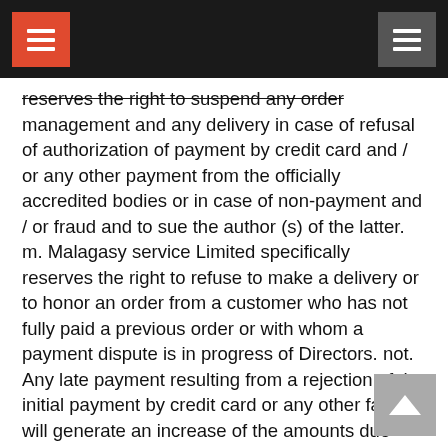reserves the right to suspend any order management and any delivery in case of refusal of authorization of payment by credit card and / or any other payment from the officially accredited bodies or in case of non-payment and / or fraud and to sue the author (s) of the latter. m. Malagasy service Limited specifically reserves the right to refuse to make a delivery or to honor an order from a customer who has not fully paid a previous order or with whom a payment dispute is in progress of Directors. not. Any late payment resulting from a rejection of the initial payment by credit card or any other factor will generate an increase of the amounts due with the application of penalties of delay equal to the base rate increased by 4 points and applicable from the delivery day and the application of a penalty clause. o. Malagasy service Limited reserves the right to continue any attempts to use fraudulent means of payment and / or to settle fraudulent payment or fraudulent payment